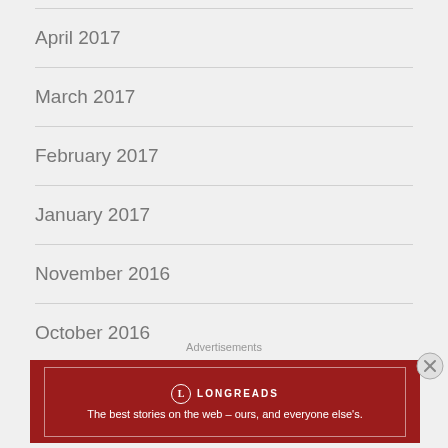April 2017
March 2017
February 2017
January 2017
November 2016
October 2016
September 2016
Advertisements
[Figure (other): Longreads advertisement banner: red background with white border, Longreads logo and tagline 'The best stories on the web — ours, and everyone else's.']